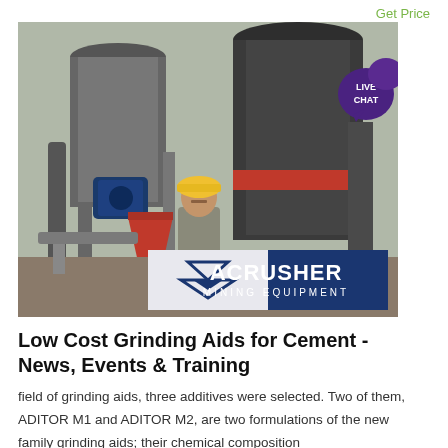Get Price
[Figure (photo): Industrial grinding mill machinery with a worker in a yellow hard hat standing in front of large metal equipment. An ACRUSHER MINING EQUIPMENT banner/logo is overlaid at the bottom of the image.]
Low Cost Grinding Aids for Cement - News, Events & Training
field of grinding aids, three additives were selected. Two of them, ADITOR M1 and ADITOR M2, are two formulations of the new family grinding aids; their chemical composition